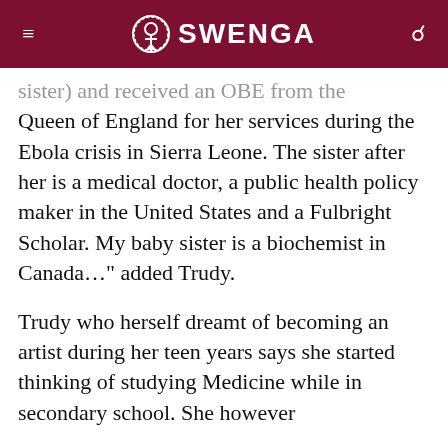SWENGA
sister) and received an OBE from the Queen of England for her services during the Ebola crisis in Sierra Leone. The sister after her is a medical doctor, a public health policy maker in the United States and a Fulbright Scholar. My baby sister is a biochemist in Canada…" added Trudy.
Trudy who herself dreamt of becoming an artist during her teen years says she started thinking of studying Medicine while in secondary school. She however